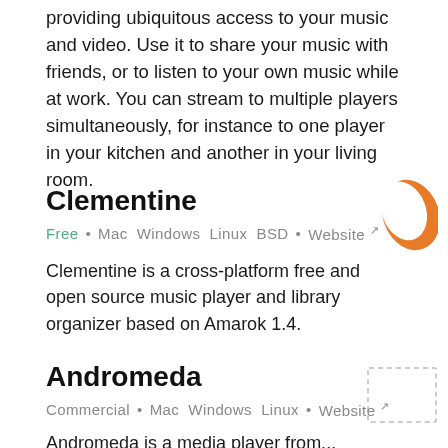providing ubiquitous access to your music and video. Use it to share your music with friends, or to listen to your own music while at work. You can stream to multiple players simultaneously, for instance to one player in your kitchen and another in your living room.
Clementine
Free • Mac Windows Linux BSD • Website
[Figure (logo): Clementine app logo — orange crescent/moon shape]
Clementine is a cross-platform free and open source music player and library organizer based on Amarok 1.4.
Andromeda
Commercial • Mac Windows Linux • Website
[Figure (other): Andromeda app logo placeholder — dashed border rectangle]
Andromeda is a media player from...